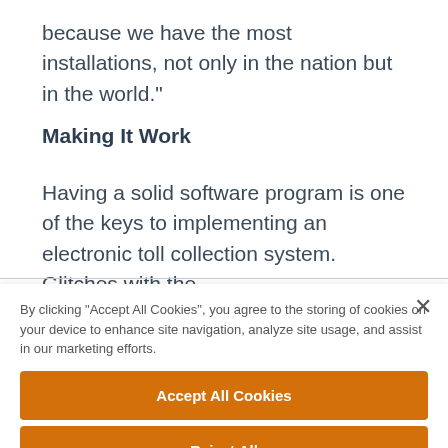because we have the most installations, not only in the nation but in the world."
Making It Work
Having a solid software program is one of the keys to implementing an electronic toll collection system. Glitches with the
By clicking "Accept All Cookies", you agree to the storing of cookies on your device to enhance site navigation, analyze site usage, and assist in our marketing efforts.
Accept All Cookies
Reject All
Cookies Settings